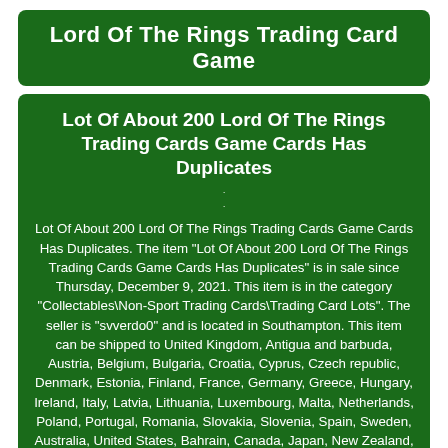Lord Of The Rings Trading Card Game
Lot Of About 200 Lord Of The Rings Trading Cards Game Cards Has Duplicates
Lot Of About 200 Lord Of The Rings Trading Cards Game Cards Has Duplicates. The item "Lot Of About 200 Lord Of The Rings Trading Cards Game Cards Has Duplicates" is in sale since Thursday, December 9, 2021. This item is in the category "Collectables\Non-Sport Trading Cards\Trading Card Lots". The seller is "svverdo0" and is located in Southampton. This item can be shipped to United Kingdom, Antigua and barbuda, Austria, Belgium, Bulgaria, Croatia, Cyprus, Czech republic, Denmark, Estonia, Finland, France, Germany, Greece, Hungary, Ireland, Italy, Latvia, Lithuania, Luxembourg, Malta, Netherlands, Poland, Portugal, Romania, Slovakia, Slovenia, Spain, Sweden, Australia, United States, Bahrain, Canada, Japan, New Zealand, China, Israel, Hong Kong, Norway, Indonesia, Malaysia, Mexico, Singapore, South Korea, Switzerland, Taiwan, Thailand, Bangladesh, Belize, Bermuda,